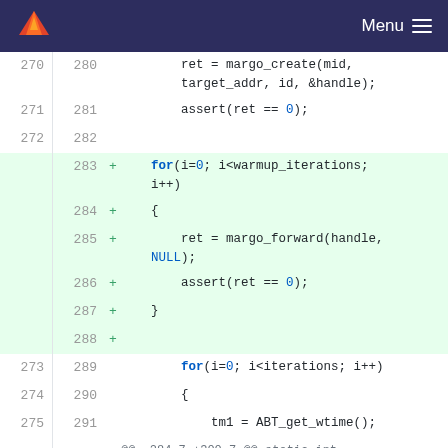[Figure (screenshot): GitLab navigation header with orange/red flame logo on dark navy background and Menu hamburger icon on right]
Code diff view showing git diff with line numbers. Lines 270-275 (old) and 280-292 (new) showing C code with margo_create, assert, for loop with warmup_iterations, margo_forward, and for loop with iterations and ABT_get_wtime. Added lines (283-288) highlighted in green background. Includes diff hunk header @@ -284,7 +300,7 @@ static int run_benchmark(int iterations, hg_id_t id, ssg_member_id_t target, Lines 284-286 (old) 300-302 (new) showing return(0) and closing brace.